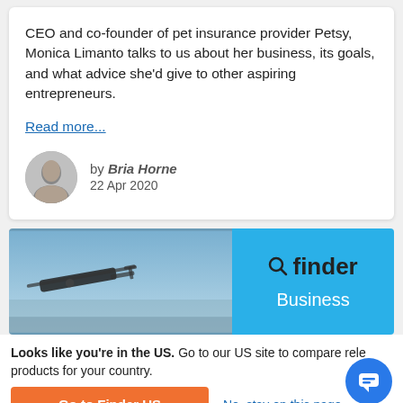CEO and co-founder of pet insurance provider Petsy, Monica Limanto talks to us about her business, its goals, and what advice she'd give to other aspiring entrepreneurs.
Read more...
by Bria Horne
22 Apr 2020
[Figure (photo): Finder banner with helicopter image on left and finder logo with Business label on right blue panel]
Looks like you're in the US. Go to our US site to compare relevant products for your country.